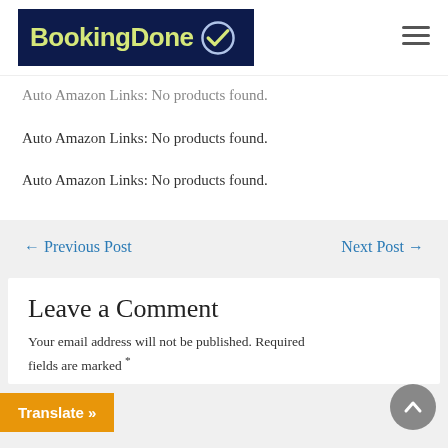BookingDone
Auto Amazon Links: No products found.
Auto Amazon Links: No products found.
Auto Amazon Links: No products found.
← Previous Post   Next Post →
Leave a Comment
Your email address will not be published. Required fields are marked *